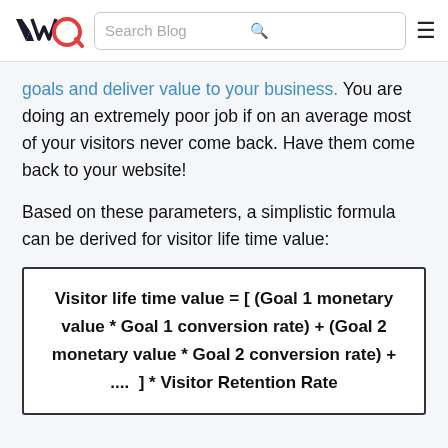VWO | Search Blog
goals and deliver value to your business. You are doing an extremely poor job if on an average most of your visitors never come back. Have them come back to your website!
Based on these parameters, a simplistic formula can be derived for visitor life time value: